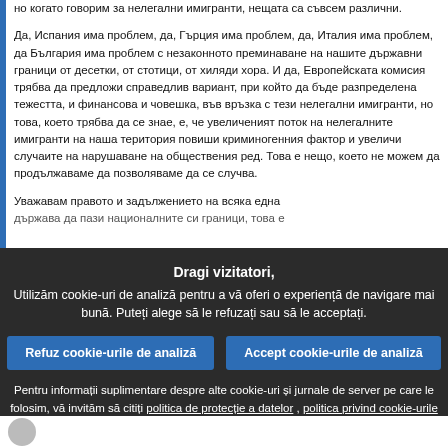но когато говорим за нелегални имигранти, нещата са съвсем различни.

Да, Испания има проблем, да, Гърция има проблем, да, Италия има проблем, да България има проблем с незаконното преминаване на нашите държавни граници от десетки, от стотици, от хиляди хора. И да, Европейската комисия трябва да предложи справедлив вариант, при който да бъде разпределена тежестта, и финансова и човешка, във връзка с тези нелегални имигранти, но това, което трябва да се знае, е, че увеличеният поток на нелегалните имигранти на наша територия повиши криминогенния фактор и увеличи случаите на нарушаване на обществения ред. Това е нещо, което не можем да продължаваме да позволяваме да се случва.

Уважавам правото и задължението на всяка една държава да пази националните си граници, това е
Dragi vizitatori,
Utilizăm cookie-uri de analiză pentru a vă oferi o experiență de navigare mai bună. Puteți alege să le refuzați sau să le acceptați.

Refuz cookie-urile de analiză | Accept cookie-urile de analiză

Pentru informații suplimentare despre alte cookie-uri și jurnale de server pe care le folosim, vă invităm să citiți politica de protecție a datelor , politica privind cookie-urile și inventarul cookie-urilor.